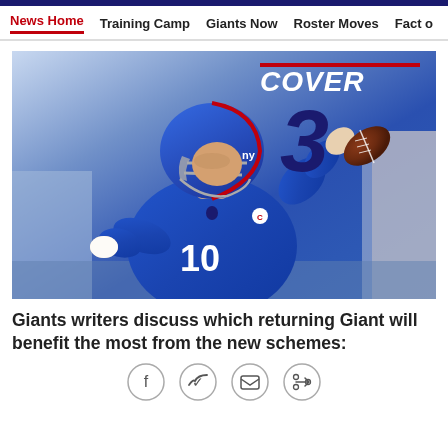News Home  Training Camp  Giants Now  Roster Moves  Fact o
[Figure (photo): New York Giants quarterback #10 in blue uniform preparing to throw a football, with COVER 3 overlay text in upper right]
Giants writers discuss which returning Giant will benefit the most from the new schemes:
[Figure (infographic): Social media share icons: Facebook, Twitter, Email, Link]